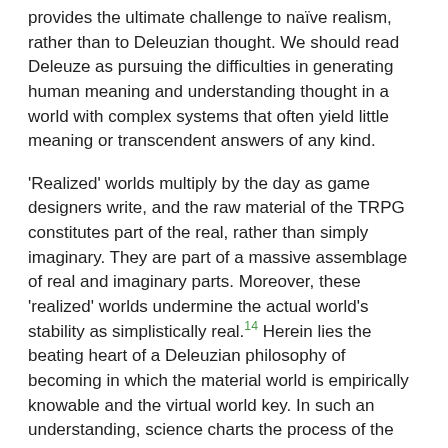provides the ultimate challenge to naïve realism, rather than to Deleuzian thought. We should read Deleuze as pursuing the difficulties in generating human meaning and understanding thought in a world with complex systems that often yield little meaning or transcendent answers of any kind.
'Realized' worlds multiply by the day as game designers write, and the raw material of the TRPG constitutes part of the real, rather than simply imaginary. They are part of a massive assemblage of real and imaginary parts. Moreover, these 'realized' worlds undermine the actual world's stability as simplistically real.14 Herein lies the beating heart of a Deleuzian philosophy of becoming in which the material world is empirically knowable and the virtual world key. In such an understanding, science charts the process of the actual/virtual world becoming real, and philosophers of science, engineering, and technology push back in the opposite direction so that the philosophical creation of concepts do, in fact, affect the actual/virtual (real) world in a material manner.